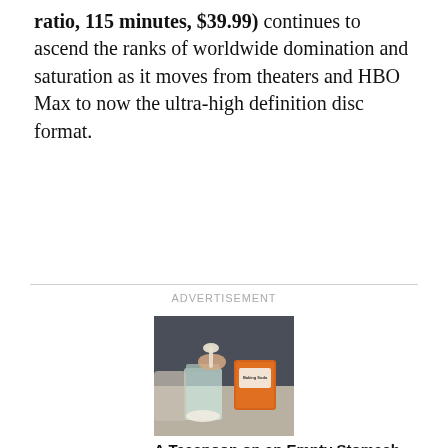ratio, 115 minutes, $39.99) continues to ascend the ranks of worldwide domination and saturation as it moves from theaters and HBO Max to now the ultra-high definition disc format.
ADVERTISEMENT
[Figure (photo): Person in denim jacket spooning white powder from a mason jar, holding an orange Arm & Hammer baking soda box]
A Teaspoon on an Empty Stomach Drops Body Weight Like Crazy!
Ads By Trending New Finds